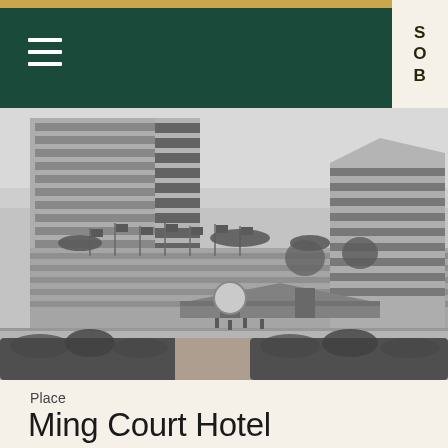SOB
[Figure (photo): Black and white photograph of Ming Court Hotel, showing a multi-storey hotel building with horizontal striped facades, flags at the entrance, a circular pavilion structure at the entrance, manicured hedges in the foreground, and a stepped tower building on the right side.]
Place
Ming Court Hotel